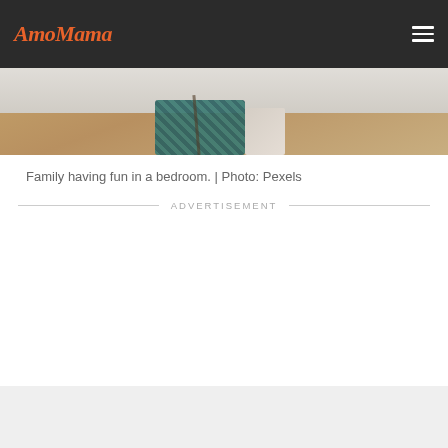AmoMama
[Figure (photo): Family having fun in a bedroom, showing wooden floor and a checkered/plaid item (appears to be a guitar case or similar object), with light walls in background.]
Family having fun in a bedroom. | Photo: Pexels